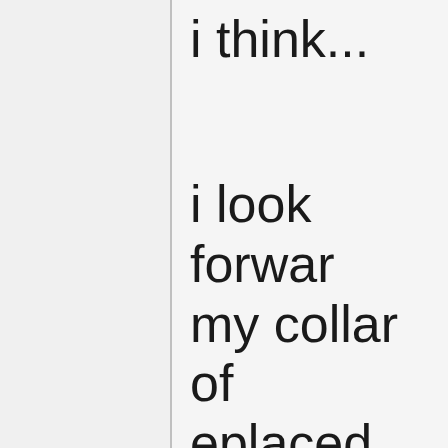i think...
i look forward my collar of eplaced with eday.  i don k about that ot....it is mo